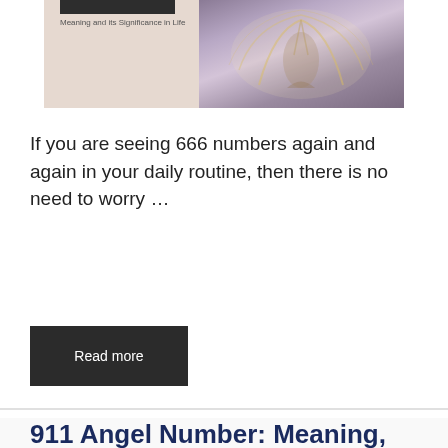[Figure (photo): A composite image with text 'Meaning and its Significance in Life' on the left side over a beige background, and an angel/wings spiritual image on the right side with purple and golden tones.]
If you are seeing 666 numbers again and again in your daily routine, then there is no need to worry …
Read more
911 Angel Number: Meaning, Numerology, Love & Significance in Life